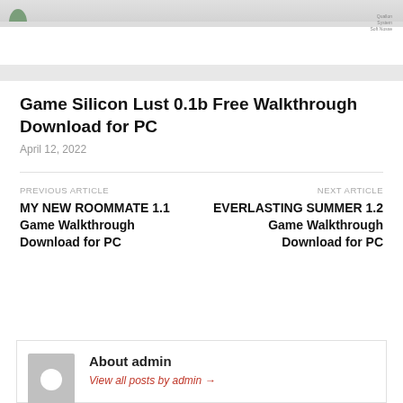[Figure (photo): Window with white frame and sill, plant on left, small watermark text on upper right]
Game Silicon Lust 0.1b Free Walkthrough Download for PC
April 12, 2022
PREVIOUS ARTICLE
MY NEW ROOMMATE 1.1 Game Walkthrough Download for PC
NEXT ARTICLE
EVERLASTING SUMMER 1.2 Game Walkthrough Download for PC
About admin
View all posts by admin →